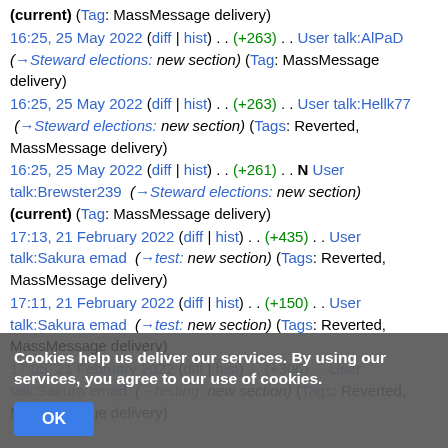(current) (Tag: MassMessage delivery)
16:25, 25 May 2022 (diff | hist) . . (+263) . . User talk:AlPaD (→Steward elections: new section) (Tag: MassMessage delivery)
16:25, 25 May 2022 (diff | hist) . . (+263) . . User talk:Hellk77 (→Steward elections: new section) (Tags: Reverted, MassMessage delivery)
16:25, 25 May 2022 (diff | hist) . . (+261) . . N User talk:Brewster239 (→Steward elections: new section) (current) (Tag: MassMessage delivery)
17:13, 21 February 2022 (diff | hist) . . (+435) . . User talk:Sakura emad (→test: new section) (Tags: Reverted, MassMessage delivery)
17:11, 21 February 2022 (diff | hist) . . (+150) . . User talk:Sakura emad (→test: new section) (Tags: Reverted, MassMessage delivery)
17:05, 21 February 2022 (diff | hist) . . (+306) . . User talk:Sakura emad (→testing: new section) (Tags: Reverted, MassMessage delivery)
Cookies help us deliver our services. By using our services, you agree to our use of cookies.